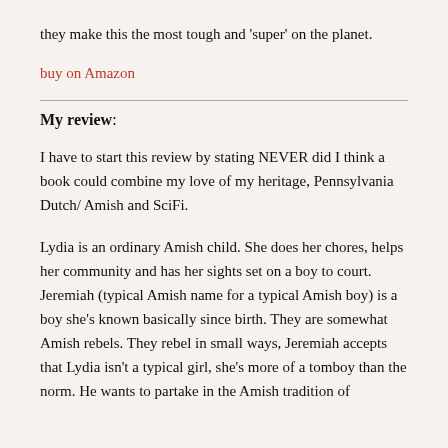...they make this the most tough and ‘super’ on the planet.
buy on Amazon
My review:
I have to start this review by stating NEVER did I think a book could combine my love of my heritage, Pennsylvania Dutch/ Amish and SciFi.
Lydia is an ordinary Amish child. She does her chores, helps her community and has her sights set on a boy to court. Jeremiah (typical Amish name for a typical Amish boy) is a boy she’s known basically since birth. They are somewhat Amish rebels. They rebel in small ways, Jeremiah accepts that Lydia isn’t a typical girl, she’s more of a tomboy than the norm. He wants to partake in the Amish tradition of